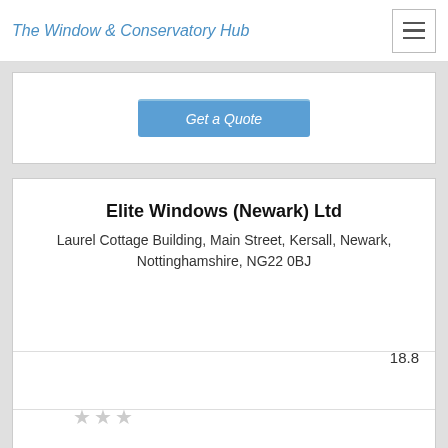The Window & Conservatory Hub
[Figure (screenshot): Get a Quote button (blue, rounded)]
Elite Windows (Newark) Ltd
Laurel Cottage Building, Main Street, Kersall, Newark, Nottinghamshire, NG22 0BJ
18.8
[Figure (other): Star rating display (2 stars, greyed out)]
[Figure (other): Checkbox (unchecked)]
Approve The Cookies
This site uses cookies to improve your user experience.
Accept  Decline
Cookie policy